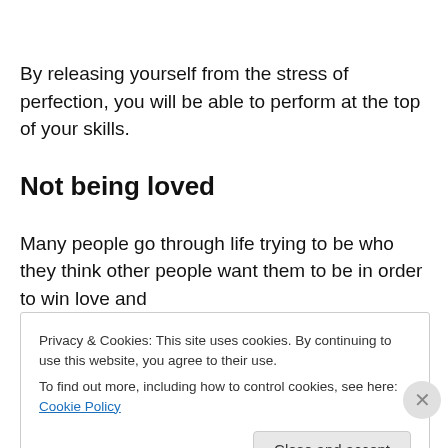By releasing yourself from the stress of perfection, you will be able to perform at the top of your skills.
Not being loved
Many people go through life trying to be who they think other people want them to be in order to win love and
Privacy & Cookies: This site uses cookies. By continuing to use this website, you agree to their use.
To find out more, including how to control cookies, see here: Cookie Policy
Close and accept